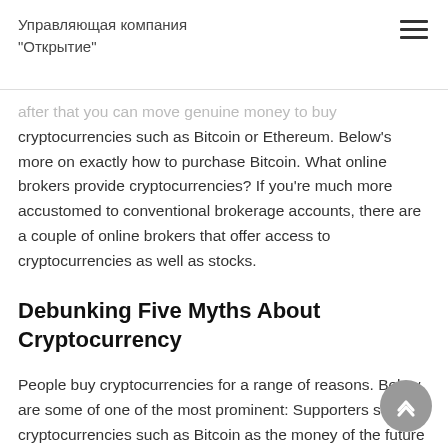Управляющая компания "Открытие"
after that you can move genuine money to buy cryptocurrencies such as Bitcoin or Ethereum. Below's more on exactly how to purchase Bitcoin. What online brokers provide cryptocurrencies? If you're much more accustomed to conventional brokerage accounts, there are a couple of online brokers that offer access to cryptocurrencies as well as stocks.
Debunking Five Myths About Cryptocurrency
People buy cryptocurrencies for a range of reasons. Below are some of one of the most prominent: Supporters see cryptocurrencies such as Bitcoin as the money of the future